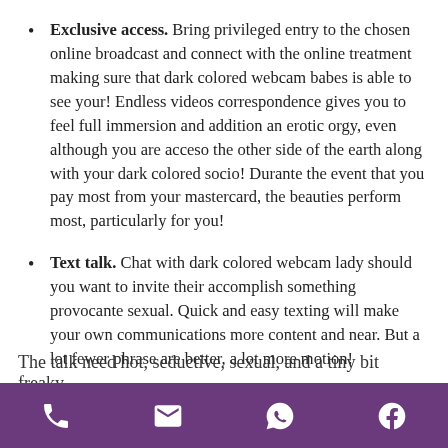Exclusive access. Bring privileged entry to the chosen online broadcast and connect with the online treatment making sure that dark colored webcam babes is able to see your! Endless videos correspondence gives you to feel full immersion and addition an erotic orgy, even although you are acceso the other side of the earth along with your dark colored socio! Durante the event that you pay most from your mastercard, the beauties perform most, particularly for you!
Text talk. Chat with dark colored webcam lady should you want to invite their accomplish something provocante sexual. Quick and easy texting will make your own communications more content and near. But a lot fewer phrase are better, a lot more motion!
The talk need hot, seductive, sexual, and a tiny bit freaky.
[phone icon] [email icon] [whatsapp icon] [facebook icon]